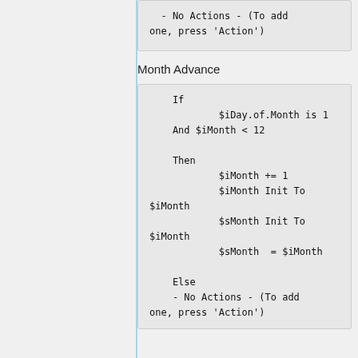- No Actions - (To add one, press 'Action')
Month Advance
If
        $iDay.of.Month is 1
    And $iMonth < 12

    Then
            $iMonth += 1
            $iMonth Init To $iMonth
            $sMonth Init To $iMonth
            $sMonth  = $iMonth

    Else
    - No Actions - (To add one, press 'Action')